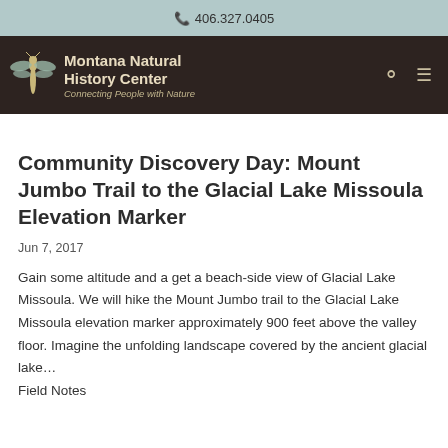406.327.0405
[Figure (logo): Montana Natural History Center logo with dragonfly icon and text 'Montana Natural History Center — Connecting People with Nature' on dark brown background with search and menu icons]
Community Discovery Day: Mount Jumbo Trail to the Glacial Lake Missoula Elevation Marker
Jun 7, 2017
Gain some altitude and a get a beach-side view of Glacial Lake Missoula. We will hike the Mount Jumbo trail to the Glacial Lake Missoula elevation marker approximately 900 feet above the valley floor. Imagine the unfolding landscape covered by the ancient glacial lake… Field Notes